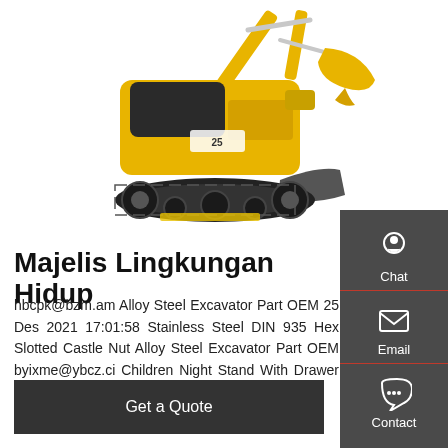[Figure (photo): Yellow mini excavator (model 25) with black tracks, arm extended with bucket, white background]
Majelis Lingkungan Hidup
hbcpk@bzm.am Alloy Steel Excavator Part OEM 25 Des 2021 17:01:58 Stainless Steel DIN 935 Hex Slotted Castle Nut Alloy Steel Excavator Part OEM byixme@ybcz.ci Children Night Stand With Drawer 25 Des 2021 14:08:51
[Figure (infographic): Dark grey sidebar with Chat (headset icon), Email (envelope icon), and Contact (speech bubble icon) buttons with red dividers]
Get a Quote